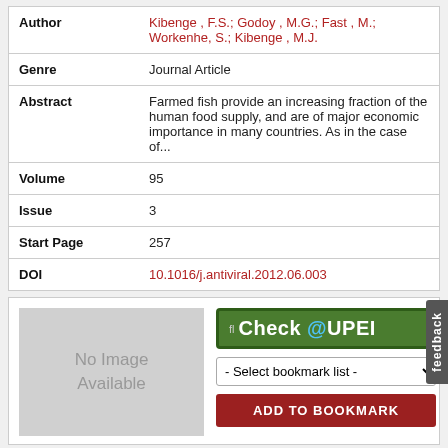| Field | Value |
| --- | --- |
| Author | Kibenge, F.S.; Godoy, M.G.; Fast, M.; Workenhe, S.; Kibenge, M.J. |
| Genre | Journal Article |
| Abstract | Farmed fish provide an increasing fraction of the human food supply, and are of major economic importance in many countries. As in the case of... |
| Volume | 95 |
| Issue | 3 |
| Start Page | 257 |
| DOI | 10.1016/j.antiviral.2012.06.003 |
[Figure (other): No Image Available placeholder (gray box) with Check@UPEI button, Select bookmark list dropdown, and ADD TO BOOKMARK button]